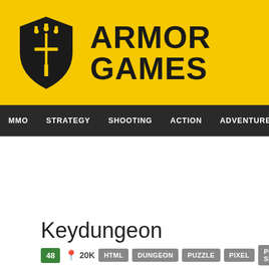[Figure (logo): Armor Games logo: yellow banner with shield logo and bold ARMOR GAMES text]
MMO  STRATEGY  SHOOTING  ACTION  ADVENTURE  P
Keydungeon
48  20K  HTML  DUNGEON  PUZZLE  PIXEL  PUZZLE-SKILL